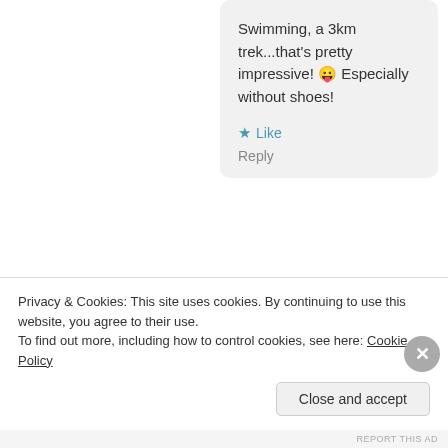Swimming, a 3km trek...that's pretty impressive! 😛 Especially without shoes!
★ Like
Reply
[Figure (photo): Circular avatar photo of a young woman with long reddish-brown hair]
Kathy @ Books & Munches
July 8, 2017 at 12:57 pm
Privacy & Cookies: This site uses cookies. By continuing to use this website, you agree to their use.
To find out more, including how to control cookies, see here: Cookie Policy
Close and accept